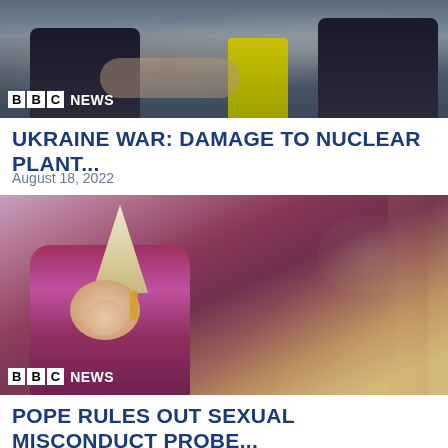[Figure (photo): BBC News branded photo showing two people in dark suits shaking hands, with a person in a yellow/green jacket visible in the background]
UKRAINE WAR: DAMAGE TO NUCLEAR PLANT...
August 18, 2022
[Figure (photo): BBC News branded photo of a Catholic bishop or cardinal in purple/pink vestments and white mitre (tall pointed hat), speaking at a podium, with golden church columns in the background]
POPE RULES OUT SEXUAL MISCONDUCT PROBE...